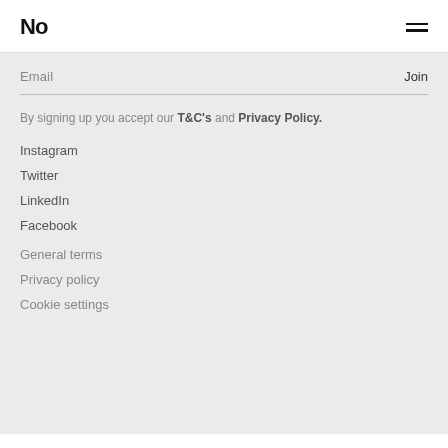No [logo] with hamburger menu
Email  Join
By signing up you accept our T&C's and Privacy Policy.
Instagram
Twitter
LinkedIn
Facebook
General terms
Privacy policy
Cookie settings